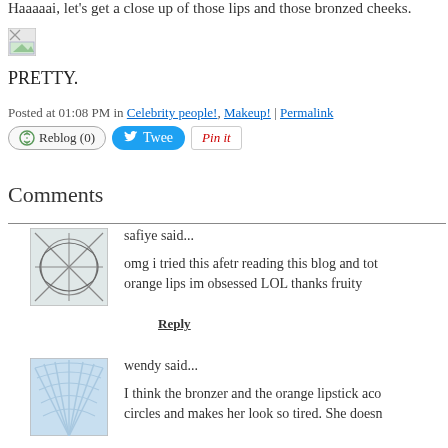Haaaaai, let's get a close up of those lips and those bronzed cheeks.
[Figure (photo): Broken/placeholder image icon]
PRETTY.
Posted at 01:08 PM in Celebrity people!, Makeup! | Permalink
Reblog (0) | Tweet | Pin it
Comments
safiye said...
[Figure (photo): Avatar image with abstract line drawing]
omg i tried this afetr reading this blog and tot... orange lips im obsessed LOL thanks fruity
Reply
wendy said...
[Figure (photo): Avatar image with blue fan/shell design]
I think the bronzer and the orange lipstick aco... circles and makes her look so tired. She doesn...